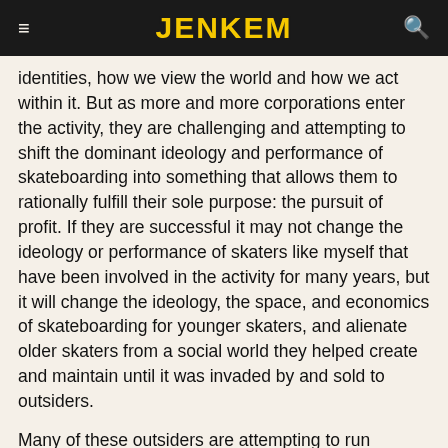JENKEM
identities, how we view the world and how we act within it. But as more and more corporations enter the activity, they are challenging and attempting to shift the dominant ideology and performance of skateboarding into something that allows them to rationally fulfill their sole purpose: the pursuit of profit. If they are successful it may not change the ideology or performance of skaters like myself that have been involved in the activity for many years, but it will change the ideology, the space, and economics of skateboarding for younger skaters, and alienate older skaters from a social world they helped create and maintain until it was invaded by and sold to outsiders.
Many of these outsiders are attempting to run skateboarding with the same principles that drive many modern corporations, which are completely incompatible with street-skating as we know it. As George Ritzer points